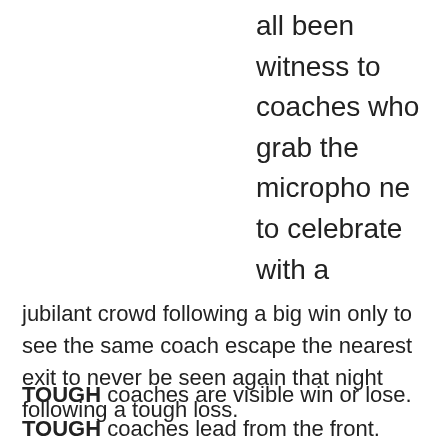all been witness to coaches who grab the microphone to celebrate with a jubilant crowd following a big win only to see the same coach escape the nearest exit to never be seen again that night following a tough loss.
TOUGH coaches are visible win or lose.
TOUGH coaches lead from the front.